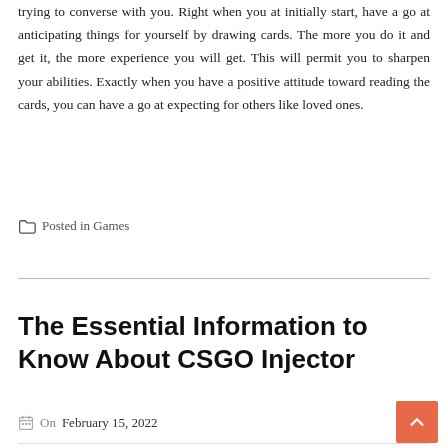trying to converse with you. Right when you at initially start, have a go at anticipating things for yourself by drawing cards. The more you do it and get it, the more experience you will get. This will permit you to sharpen your abilities. Exactly when you have a positive attitude toward reading the cards, you can have a go at expecting for others like loved ones.
Posted in Games
The Essential Information to Know About CSGO Injector
On February 15, 2022